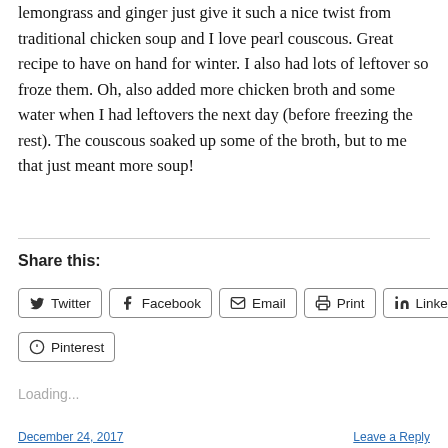lemongrass and ginger just give it such a nice twist from traditional chicken soup and I love pearl couscous. Great recipe to have on hand for winter. I also had lots of leftover so froze them. Oh, also added more chicken broth and some water when I had leftovers the next day (before freezing the rest). The couscous soaked up some of the broth, but to me that just meant more soup!
Share this:
Twitter
Facebook
Email
Print
LinkedIn
Pinterest
Loading...
December 24, 2017 ... Leave a Reply